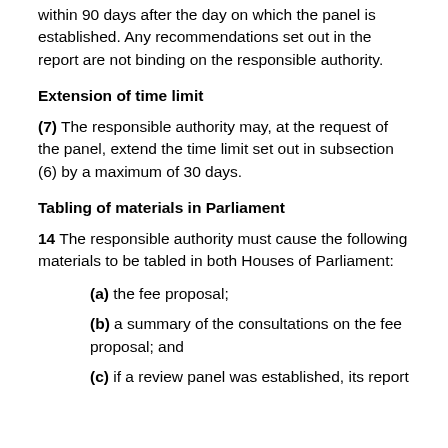(c) The panel must issue a report on the complaints within 90 days after the day on which the panel is established. Any recommendations set out in the report are not binding on the responsible authority.
Extension of time limit
(7) The responsible authority may, at the request of the panel, extend the time limit set out in subsection (6) by a maximum of 30 days.
Tabling of materials in Parliament
14 The responsible authority must cause the following materials to be tabled in both Houses of Parliament:
(a) the fee proposal;
(b) a summary of the consultations on the fee proposal; and
(c) if a review panel was established, its report and a summary of consultations on the...